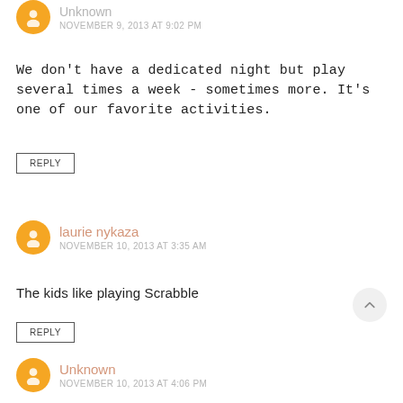Unknown
NOVEMBER 9, 2013 AT 9:02 PM
We don't have a dedicated night but play several times a week - sometimes more. It's one of our favorite activities.
REPLY
laurie nykaza
NOVEMBER 10, 2013 AT 3:35 AM
The kids like playing Scrabble
REPLY
Unknown
NOVEMBER 10, 2013 AT 4:06 PM